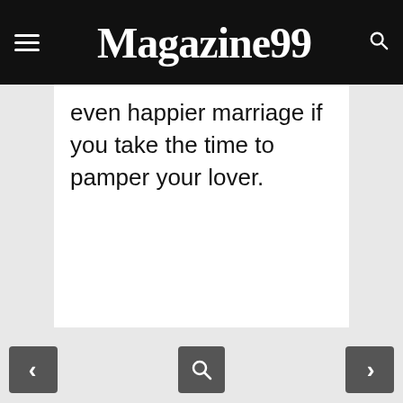Magazine99
even happier marriage if you take the time to pamper your lover.